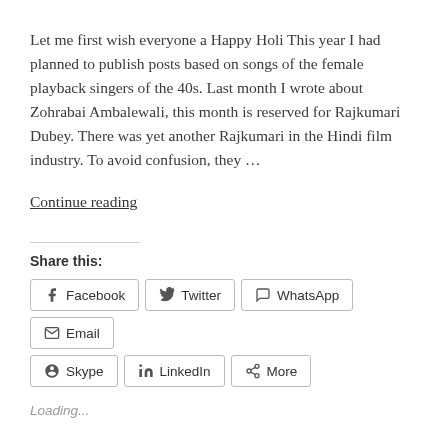Let me first wish everyone a Happy Holi This year I had planned to publish posts based on songs of the female playback singers of the 40s. Last month I wrote about Zohrabai Ambalewali, this month is reserved for Rajkumari Dubey. There was yet another Rajkumari in the Hindi film industry. To avoid confusion, they ...
Continue reading
Share this:
Loading...